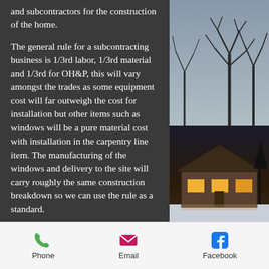and subcontractors for the construction of the home.
The general rule for a subcontracting business is 1/3rd labor, 1/3rd material and 1/3rd for OH&P, this will vary amongst the trades as some equipment cost will far outweigh the cost for installation but other items such as windows will be a pure material cost with installation in the carpentry line item. The manufacturing of the windows and delivery to the site will carry roughly the same construction breakdown so we can use the rule as a standard.
[Figure (photo): Winter trees with bare branches against a grey sky]
[Figure (photo): A lit house at dusk in winter with snow on the ground]
Phone   Email   Facebook